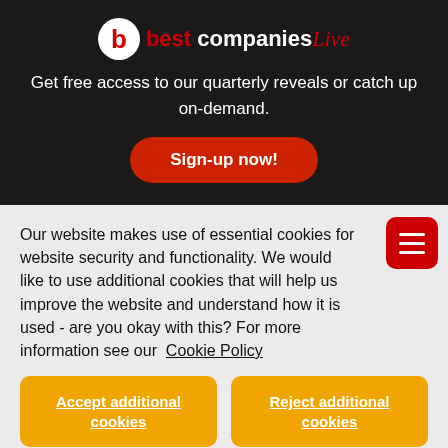[Figure (logo): Best Companies Live logo with red circle containing white 'b', followed by 'best companies' text and italic 'Live' in red]
Get free access to our quarterly reveals or catch up on-demand.
Sign-up now!
Our website makes use of essential cookies for website security and functionality. We would like to use additional cookies that will help us improve the website and understand how it is used - are you okay with this? For more information see our Cookie Policy
Accept additional cookies
Reject additional cookies
link for further